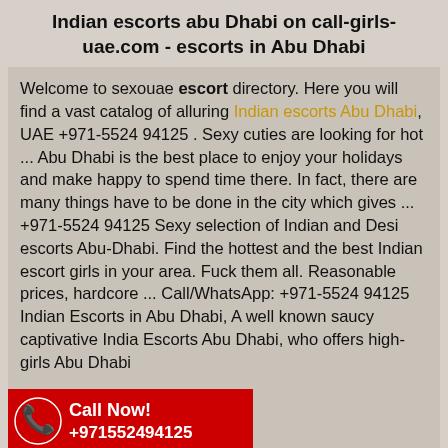Indian escorts abu Dhabi on call-girls-uae.com - escorts in Abu Dhabi
Welcome to sexouae escort directory. Here you will find a vast catalog of alluring Indian escorts Abu Dhabi, UAE +971-5524 94125 . Sexy cuties are looking for hot ... Abu Dhabi is the best place to enjoy your holidays and make happy to spend time there. In fact, there are many things have to be done in the city which gives ... +971-5524 94125 Sexy selection of Indian and Desi escorts Abu-Dhabi. Find the hottest and the best Indian escort girls in your area. Fuck them all. Reasonable prices, hardcore ... Call/WhatsApp: +971-5524 94125 Indian Escorts in Abu Dhabi, A well known saucy captivative India Escorts Abu Dhabi, who offers high- girls Abu Dhabi
[Figure (infographic): Red call button banner with phone icon, 'Call Now!' text and '+971552494125' phone number]
[Figure (infographic): Footer bar with dark red background showing WhatsApp icon and '+971552494125', and red section with 'Escorts Qatar' text and arrow]